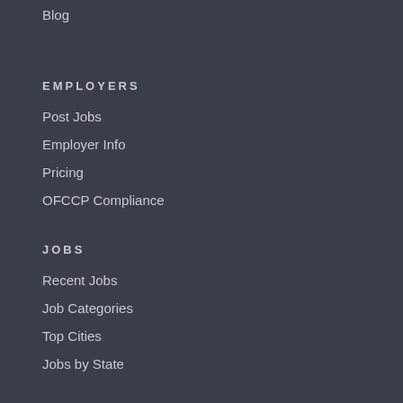Blog
EMPLOYERS
Post Jobs
Employer Info
Pricing
OFCCP Compliance
JOBS
Recent Jobs
Job Categories
Top Cities
Jobs by State